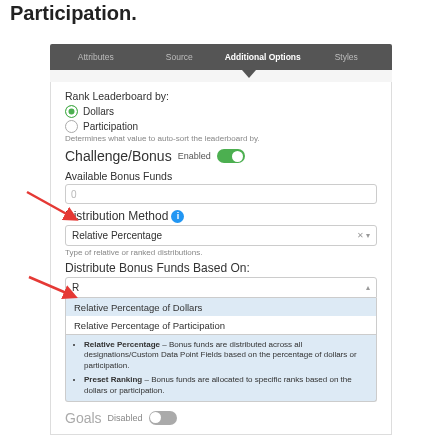Participation.
[Figure (screenshot): UI panel with tabs: Attributes, Source, Additional Options (active), Styles. Contains form fields for Rank Leaderboard by (Dollars selected, Participation), Challenge/Bonus toggle (Enabled/on), Available Bonus Funds input, Distribution Method dropdown with info icon (Relative Percentage selected), Distribute Bonus Funds Based On dropdown (open, showing Relative Percentage of Dollars and Relative Percentage of Participation options) with red arrow annotation, and info box explaining Relative Percentage and Preset Ranking. Goals toggle (Disabled/off) shown at bottom. Red arrow annotations pointing to Distribution Method and Distribute Bonus Funds Based On fields.]